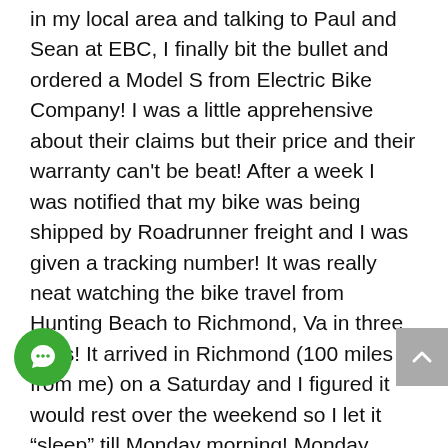in my local area and talking to Paul and Sean at EBC, I finally bit the bullet and ordered a Model S from Electric Bike Company! I was a little apprehensive about their claims but their price and their warranty can't be beat! After a week I was notified that my bike was being shipped by Roadrunner freight and I was given a tracking number! It was really neat watching the bike travel from Hunting Beach to Richmond, Va in three days! It arrived in Richmond (100 miles from me) on a Saturday and I figured it would rest over the weekend so I let it “sleep” till Monday morning! Monday morning it was dropped of at National Delivery which after doing some research I found out that they did deliver in my area so I called them to find out what the status was! They were going to
[Figure (other): Green circular chat bubble button in the bottom-left area]
[Figure (other): Gray scroll-to-top button with upward chevron in the bottom-right area]